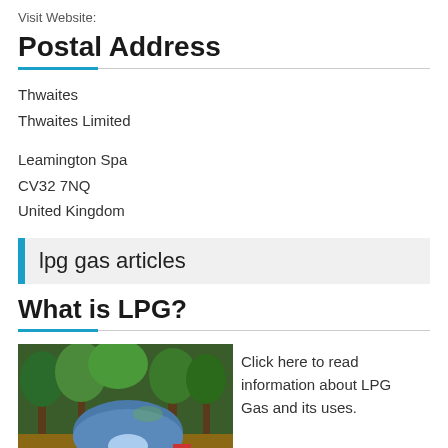Visit Website:
Postal Address
Thwaites
Thwaites Limited
Leamington Spa
CV32 7NQ
United Kingdom
lpg gas articles
What is LPG?
[Figure (photo): Photo of a blue dome tent in a forest campsite with trees, a red camping chair, and a campfire area on a dirt ground.]
Click here to read information about LPG Gas and its uses.